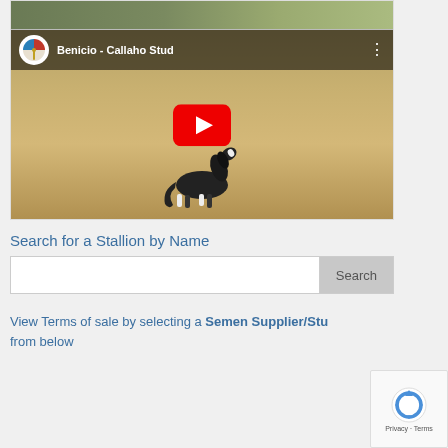[Figure (screenshot): YouTube video thumbnail showing a horse (black and white) in a sandy arena. The video title bar shows 'Benicio - Callaho Stud' with a logo circle and three-dot menu. A large red play button is centered on the thumbnail.]
Search for a Stallion by Name
[Figure (screenshot): Search bar with text input field and a grey 'Search' button]
View Terms of sale by selecting a Semen Supplier/Stud from below